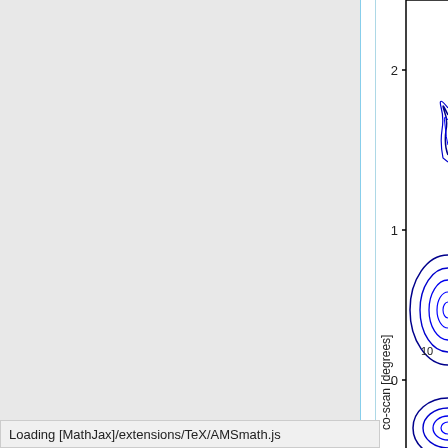[Figure (continuous-plot): Partial view of a contour plot showing concentric blue contour rings (closed curves) on a white background. Y-axis visible with tick marks at 0, 1, 2. Y-axis label 'co-scan [degrees]' rotated 90 degrees. Three groups of concentric contours visible at different y positions. A contour label '10' is visible near the middle-right contour group.]
Loading [MathJax]/extensions/TeX/AMSmath.js